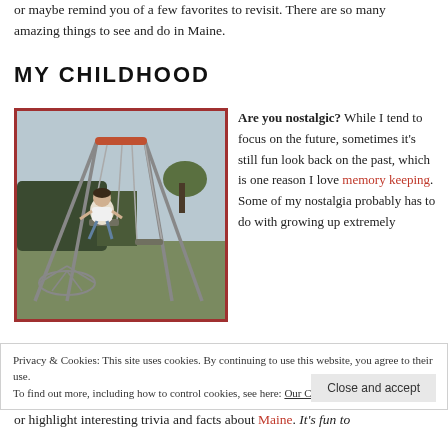or maybe remind you of a few favorites to revisit. There are so many amazing things to see and do in Maine.
MY CHILDHOOD
[Figure (photo): Vintage photograph of a child sitting on a playground swing set with metal frame, outdoors on grass with trees in the background. Red border around the photo.]
Are you nostalgic? While I tend to focus on the future, sometimes it's still fun look back on the past, which is one reason I love memory keeping. Some of my nostalgia probably has to do with growing up extremely
Privacy & Cookies: This site uses cookies. By continuing to use this website, you agree to their use. To find out more, including how to control cookies, see here: Our Cookie Policy
or highlight interesting trivia and facts about Maine. It's fun to